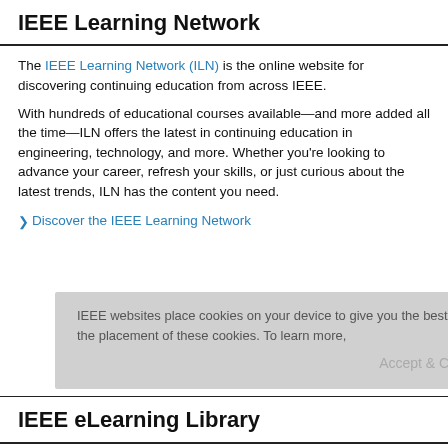IEEE Learning Network
The IEEE Learning Network (ILN) is the online website for discovering continuing education from across IEEE.
With hundreds of educational courses available—and more added all the time—ILN offers the latest in continuing education in engineering, technology, and more. Whether you're looking to advance your career, refresh your skills, or just curious about the latest trends, ILN has the content you need.
Discover the IEEE Learning Network
IEEE eLearning Library
The IEEE eLearning Library offers hundreds of hours of continuing professional education in current and emerging technologies and professional skills, developed with the